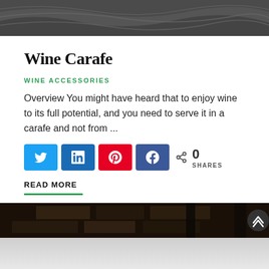[Figure (photo): Dark abstract wavy surface, partially visible at top of page]
Wine Carafe
WINE ACCESSORIES
Overview You might have heard that to enjoy wine to its full potential, and you need to serve it in a carafe and not from ...
[Figure (infographic): Social share buttons: Twitter (blue), LinkedIn (dark blue), Pinterest (red), Facebook (blue), and share count showing 0 SHARES]
READ MORE
[Figure (photo): Dark image of wine bottles and stone background, partially visible at bottom of page]